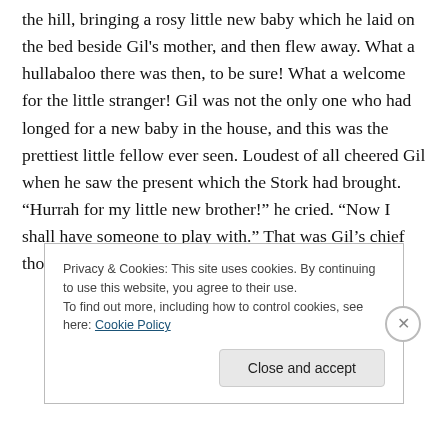the hill, bringing a rosy little new baby which he laid on the bed beside Gil's mother, and then flew away. What a hullabaloo there was then, to be sure! What a welcome for the little stranger! Gil was not the only one who had longed for a new baby in the house, and this was the prettiest little fellow ever seen. Loudest of all cheered Gil when he saw the present which the Stork had brought. “Hurrah for my little new brother!” he cried. “Now I shall have someone to play with.” That was Gil’s chief thought: now he would have someone to play with.
Privacy & Cookies: This site uses cookies. By continuing to use this website, you agree to their use.
To find out more, including how to control cookies, see here: Cookie Policy
Close and accept